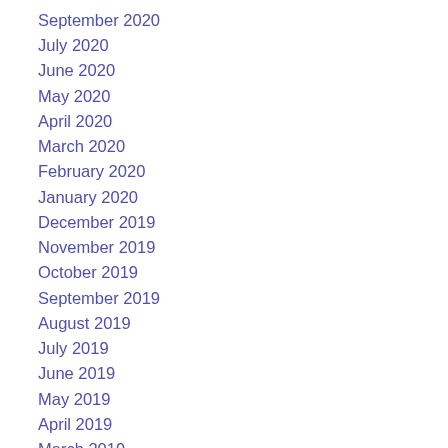September 2020
July 2020
June 2020
May 2020
April 2020
March 2020
February 2020
January 2020
December 2019
November 2019
October 2019
September 2019
August 2019
July 2019
June 2019
May 2019
April 2019
March 2019
February 2019